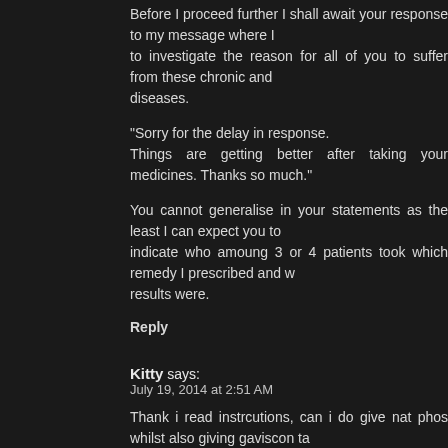Before I proceed further I shall await your response to my message where I to investigate the reason for all of you to suffer from these chronic and diseases.
“Sorry for the delay in response.
Things are getting better after taking your medicines. Thanks so much.”
You cannot generalise in your statements as the least I can expect you to indicate who amoung 3 or 4 patients took which remedy I prescribed and w results were.
Reply
Kitty says:
July 19, 2014 at 2:51 AM
Thank i read instrcutions, can i do give nat phos whilst also giving gaviscon ta must i try it separately?
Reply
Joe says:
July 19, 2014 at 7:00 AM
You confirmed that you have read my prescription for GERD and you now stat “can i do give nat phos whilst also giving gaviscon tablets or must i try it separa
I have clearly stated in my prescription that the patient should STOP all drug using my therapy.
Reply